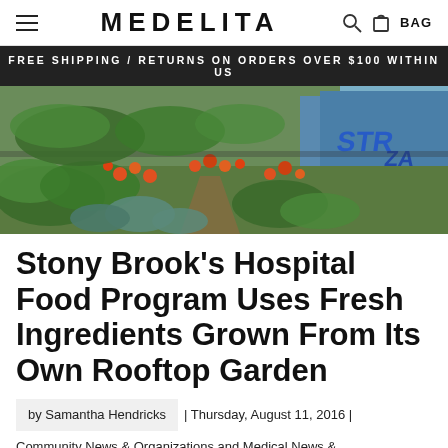MEDELITA
FREE SHIPPING / RETURNS ON ORDERS OVER $100 WITHIN US
[Figure (photo): Overhead view of a rooftop or urban garden with rows of green leafy vegetables, orange flowering plants, and graffiti-covered structures in the background.]
Stony Brook's Hospital Food Program Uses Fresh Ingredients Grown From Its Own Rooftop Garden
by Samantha Hendricks | Thursday, August 11, 2016 | Community News & Organizations and Medical News &